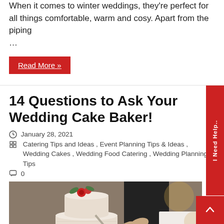When it comes to winter weddings, they're perfect for all things comfortable, warm and cosy. Apart from the piping …
Read More »
14 Questions to Ask Your Wedding Cake Baker!
January 28, 2021
Catering Tips and Ideas, Event Planning Tips & Ideas, Wedding Cakes, Wedding Food Catering, Wedding Planning Tips
0
[Figure (photo): A couple cutting a white rustic three-tiered wedding cake decorated with red roses and greenery, with the bride in a white lace dress visible on the right.]